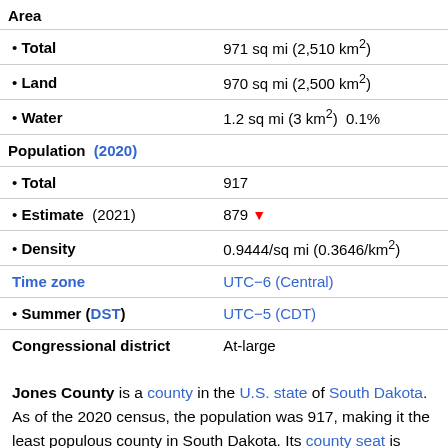| Field | Value |
| --- | --- |
| Area |  |
| • Total | 971 sq mi (2,510 km²) |
| • Land | 970 sq mi (2,500 km²) |
| • Water | 1.2 sq mi (3 km²)  0.1% |
| Population (2020) |  |
| • Total | 917 |
| • Estimate (2021) | 879 ▼ |
| • Density | 0.9444/sq mi (0.3646/km²) |
| Time zone | UTC−6 (Central) |
| • Summer (DST) | UTC−5 (CDT) |
| Congressional district | At-large |
Jones County is a county in the U.S. state of South Dakota. As of the 2020 census, the population was 917, making it the least populous county in South Dakota. Its county seat is Murdo. Created in 1916 and organized in